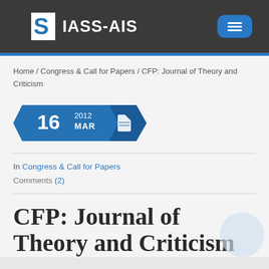IASS-AIS
Home / Congress & Call for Papers / CFP: Journal of Theory and Criticism
[Figure (other): Date badge showing 16 MAR 2012 with blue arrow/chevron shapes and a document icon]
In Congress & Call for Papers
Comments (2)
CFP: Journal of Theory and Criticism